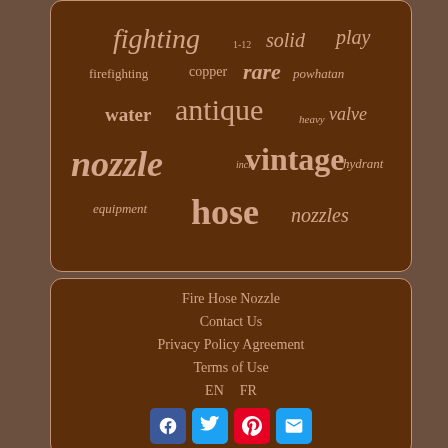[Figure (infographic): Tag cloud with fire hose related words: fighting, 1-12, solid, play, firefighting, copper, rare, powhatan, water, antique, heavy, valve, nozzle, inch, vintage, hydrant, equipment, hose, nozzles]
Fire Hose Nozzle
Contact Us
Privacy Policy Agreement
Terms of Use
EN   FR